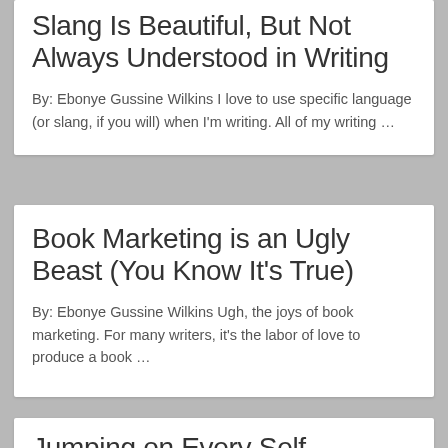Slang Is Beautiful, But Not Always Understood in Writing
By: Ebonye Gussine Wilkins I love to use specific language (or slang, if you will) when I'm writing. All of my writing …
Book Marketing is an Ugly Beast (You Know It's True)
By: Ebonye Gussine Wilkins Ugh, the joys of book marketing. For many writers, it's the labor of love to produce a book …
Jumping on Every Self…